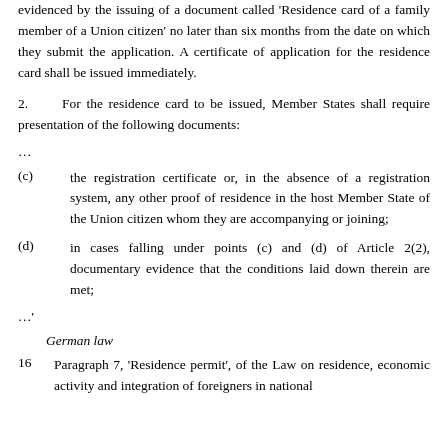evidenced by the issuing of a document called 'Residence card of a family member of a Union citizen' no later than six months from the date on which they submit the application. A certificate of application for the residence card shall be issued immediately.
2. For the residence card to be issued, Member States shall require presentation of the following documents:
…
(c) the registration certificate or, in the absence of a registration system, any other proof of residence in the host Member State of the Union citizen whom they are accompanying or joining;
(d) in cases falling under points (c) and (d) of Article 2(2), documentary evidence that the conditions laid down therein are met;
…'
German law
16 Paragraph 7, 'Residence permit', of the Law on residence, economic activity and integration of foreigners in national